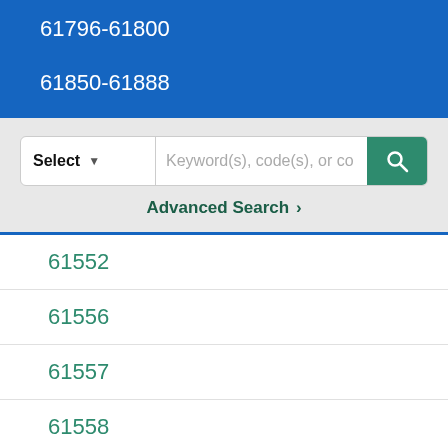61796-61800
61850-61888
Select  Keyword(s), code(s), or co...
Advanced Search >
61552
61556
61557
61558
61559